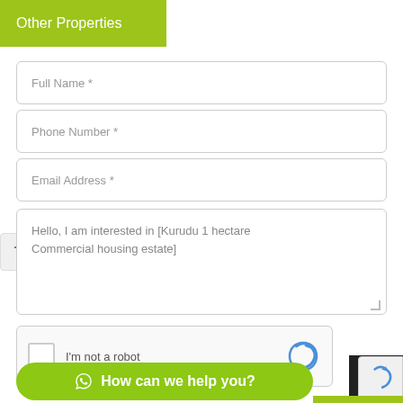Other Properties
Full Name *
Phone Number *
Email Address *
Hello, I am interested in [Kurudu 1 hectare Commercial housing estate]
I'm not a robot
How can we help you?